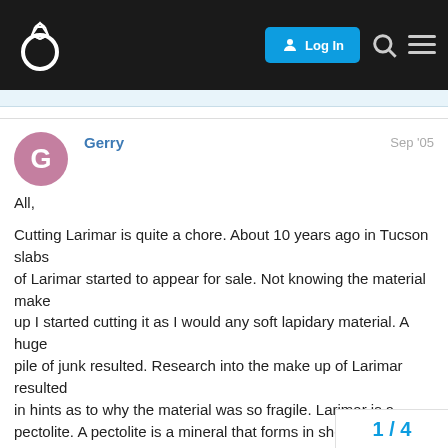PriceScope forum header with logo, Log In button, search and menu icons
Gerry
Sep '05
All,

Cutting Larimar is quite a chore. About 10 years ago in Tucson slabs
of Larimar started to appear for sale. Not knowing the material make
up I started cutting it as I would any soft lapidary material. A huge
pile of junk resulted. Research into the make up of Larimar resulted
in hints as to why the material was so fragile. Larimar is a
pectolite. A pectolite is a mineral that forms in sheaths. These
sheaths resmble sprays like in sagenites, but are not encased in
silica bearing minerals. Sheaths are held t chemical and mechanical bonds.
1 / 4